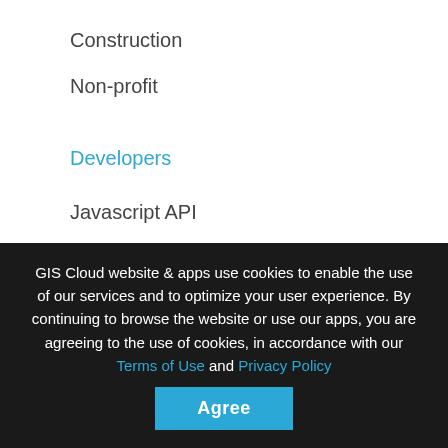Construction
Non-profit
Developers
Javascript API
REST API
Custom App
Learning Center
Blog
User Manual
GIS Cloud website & apps use cookies to enable the use of our services and to optimize your user experience. By continuing to browse the website or use our apps, you are agreeing to the use of cookies, in accordance with our Terms of Use and Privacy Policy
Agree